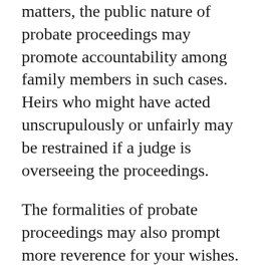matters, the public nature of probate proceedings may promote accountability among family members in such cases. Heirs who might have acted unscrupulously or unfairly may be restrained if a judge is overseeing the proceedings.
The formalities of probate proceedings may also prompt more reverence for your wishes. As a result, even if some heirs are dissatisfied with your outlined wishes, they will be less likely to contest them because of the court's involvement. Moreover, there is a finality associated with judicial processes that could further encourage an individual to honor the judge's ultimate decision. Whether court involvement preserves family dynamics depends on the specific circumstances.